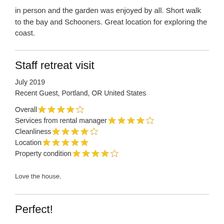in person and the garden was enjoyed by all. Short walk to the bay and Schooners. Great location for exploring the coast.
Staff retreat visit
July 2019
Recent Guest, Portland, OR United States
Overall ★★★★☆
Services from rental manager ★★★★☆
Cleanliness ★★★★☆
Location ★★★★★
Property condition ★★★★☆
Love the house.
Perfect!